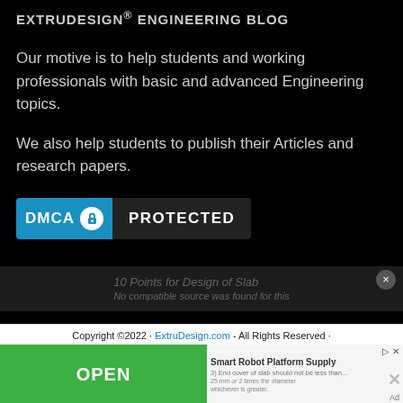EXTRUDESIGN® ENGINEERING BLOG
Our motive is to help students and working professionals with basic and advanced Engineering topics.
We also help students to publish their Articles and research papers.
[Figure (logo): DMCA Protected badge: blue left panel with DMCA text and lock icon, dark right panel with PROTECTED text]
Copyright ©2022 · ExtruDesign.com - All Rights Reserved ·
[Figure (screenshot): Advertisement overlay with green OPEN button, Smart Robot Platform Supply text, and Ad label]